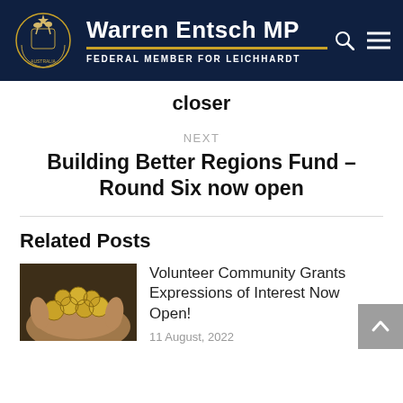Warren Entsch MP — Federal Member for Leichhardt
closer
NEXT
Building Better Regions Fund – Round Six now open
Related Posts
[Figure (photo): Hands holding gold coins]
Volunteer Community Grants Expressions of Interest Now Open!
11 August, 2022